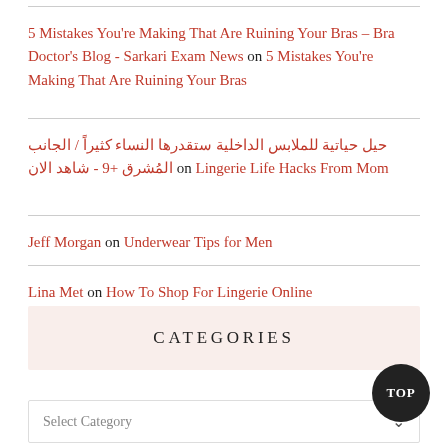5 Mistakes You're Making That Are Ruining Your Bras – Bra Doctor's Blog - Sarkari Exam News on 5 Mistakes You're Making That Are Ruining Your Bras
حيل حياتية للملابس الداخلية ستقدرها النساء كثيراً / الجانب المُشرق +9 - شاهد الان on Lingerie Life Hacks From Mom
Jeff Morgan on Underwear Tips for Men
Lina Met on How To Shop For Lingerie Online
CATEGORIES
Select Category